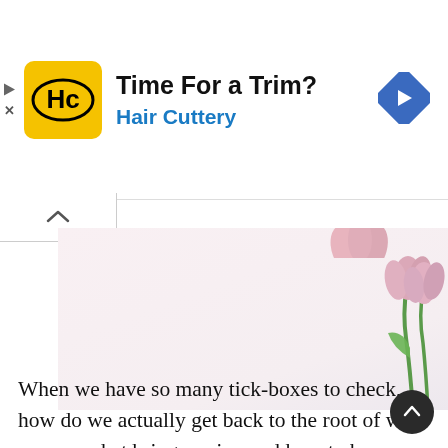[Figure (other): Hair Cuttery advertisement banner with yellow HC logo, title 'Time For a Trim?' and blue subtitle 'Hair Cuttery', with blue diamond arrow icon on the right]
[Figure (photo): Minimalist photo with white/light pink background and pink tulips visible in the top right corner and bottom right corner]
When we have so many tick-boxes to check, how do we actually get back to the root of who we are, what brings us joy and how to be authentically and